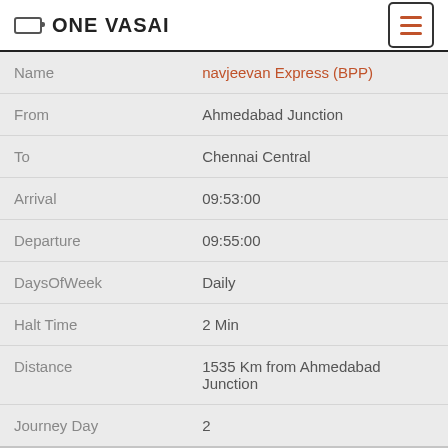ONE VASAI
| Field | Value |
| --- | --- |
| Name | navjeevan Express (BPP) |
| From | Ahmedabad Junction |
| To | Chennai Central |
| Arrival | 09:53:00 |
| Departure | 09:55:00 |
| DaysOfWeek | Daily |
| Halt Time | 2 Min |
| Distance | 1535 Km from Ahmedabad Junction |
| Journey Day | 2 |
| Field | Value |
| --- | --- |
| No | 57277 |
| Name | gudur - Vijayawada Passenger |